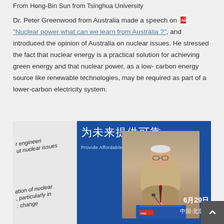From Hong-Bin Sun from Tsinghua University
Dr. Peter Greenwood from Australia made a speech on “Nuclear power what can we learn from Australia ?”, and introduced the opinion of Australia on nuclear issues. He stressed the fact that nuclear energy is a practical solution for achieving green energy and that nuclear power, as a low-carbon energy source like renewable technologies, may be required as part of a lower-carbon electricity system.
[Figure (photo): Dr. Peter Greenwood speaking at a podium at a conference in Beijing, China. A banner in Chinese reads '为未来提供可靠…' with English text 'Provide Affordable, Reliable, And...' The slide behind him contains text about engineering and nuclear issues. The date 6月29日 and location 中国·北京 are visible.]